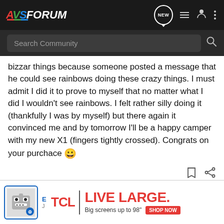AVSForum - Navigation bar with logo and icons
Search Community
bizzar things because someone posted a message that he could see rainbows doing these crazy things. I must admit I did it to prove to myself that no matter what I did I wouldn't see rainbows. I felt rather silly doing it (thankfully I was by myself) but there again it convinced me and by tomorrow I'll be a happy camper with my new X1 (fingers tightly crossed). Congrats on your purchace 😀
[Figure (other): TCL advertisement banner: 'LIVE LARGE. Big screens up to 98" SHOP NOW']